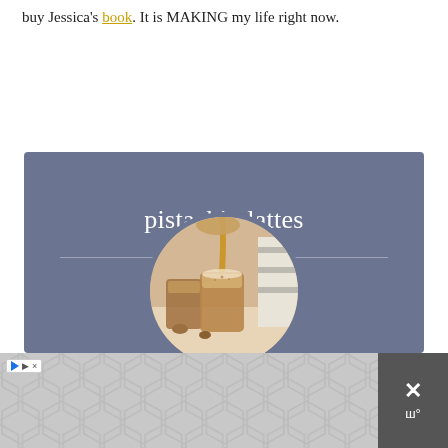buy Jessica's book. It is MAKING my life right now.
[Figure (photo): Circular photo of pistachio lattes being poured into a glass, with nuts visible in background]
pistachio lattes
5 from 1 reviews
[Figure (other): Advertisement banner with hexagonal pattern, play button icon, and close button]